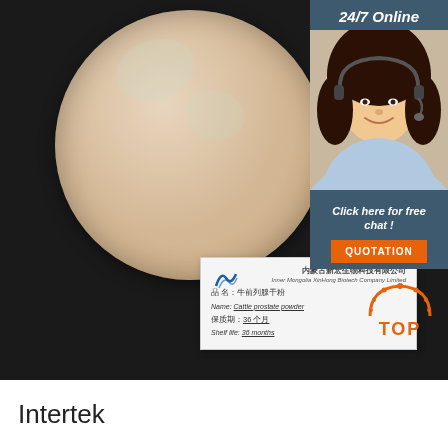[Figure (photo): Product photo showing beige/cream powder in a circular petri dish on a dark background, with a product label card showing Chinese company name (内蒙古新宏生物科技有限公司 / Inner Mongolia XinHong Biotech Company Limited), product name in Chinese (牛前列腺干粉) and English (Cattle prostate powder), shelf life in Chinese (36个月) and English (36 months), and a company logo. On the right side is a '24/7 Online' chat agent panel with a photo of a female agent with headset, 'Click here for free chat!' text, and an orange QUOTATION button. An orange TOP logo badge is in the bottom right of the image area.]
Intertek